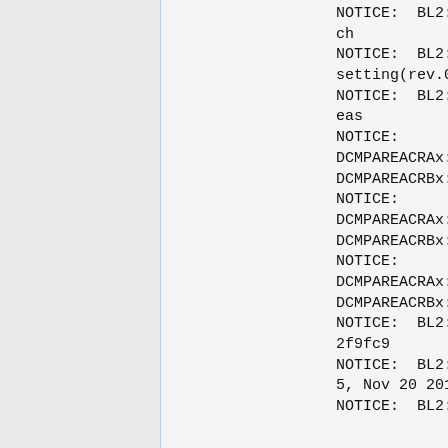NOTICE:  BL2: DRAM Split is 4ch
NOTICE:  BL2: QoS is default setting(rev.0.32)
NOTICE:  BL2: Lossy Decomp areas
NOTICE:        Entry 0:
DCMPAREACRAx:0x80000540
DCMPAREACRBx:0x570
NOTICE:        Entry 1:
DCMPAREACRAx:0x40000000
DCMPAREACRBx:0x0
NOTICE:        Entry 2:
DCMPAREACRAx:0x20000000
DCMPAREACRBx:0x0
NOTICE:  BL2: v1.1(release):c2f9fc9
NOTICE:  BL2: Built : 00:36:25, Nov 20 2016
NOTICE:  BL2: Normal boot